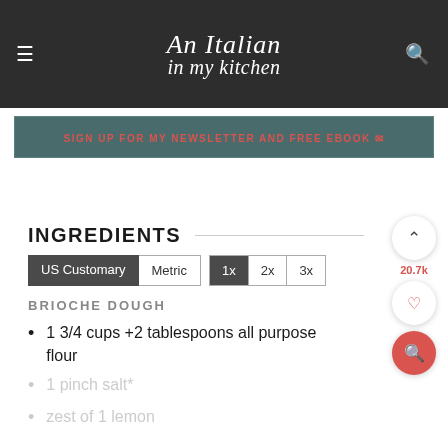An Italian in my kitchen
SIGN UP FOR MY NEWSLETTER AND FREE EBOOK ✉
INGREDIENTS
US Customary | Metric | 1x | 2x | 3x
BRIOCHE DOUGH
1 3/4 cups +2 tablespoons all purpose flour
1 pinch salt*
zest of 1 lemon